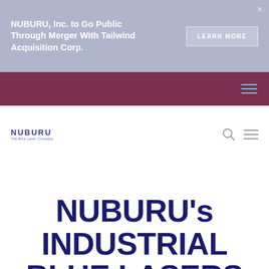NUBURU, Inc. to Go Public Through Merger With Tailwind Acquisition Corp.
[Figure (screenshot): LEARN MORE button in a semi-transparent bordered style on the blue-grey banner]
[Figure (logo): NUBURU logo with stylized text and tagline 'The Blue Laser Company']
NUBURU's INDUSTRIAL BLUE LASERS